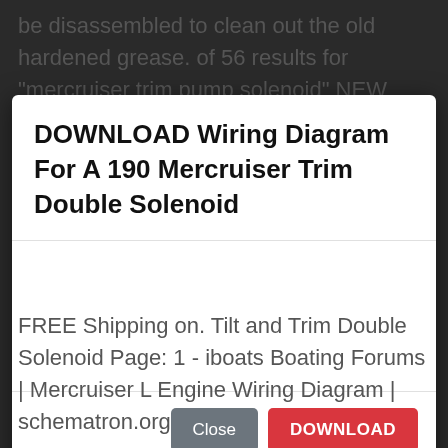be disassembled to clean out the old hardened grease. of 56 results for "mercruiser trim pump solenoid" NEW STARTER SOLENOID MERCRUISER STERN DRIVE L
DOWNLOAD Wiring Diagram For A 190 Mercruiser Trim Double Solenoid
Close  DOWNLOAD
FREE Shipping on. Tilt and Trim Double Solenoid Page: 1 - iboats Boating Forums | Mercruiser L Engine Wiring Diagram | schematron.org